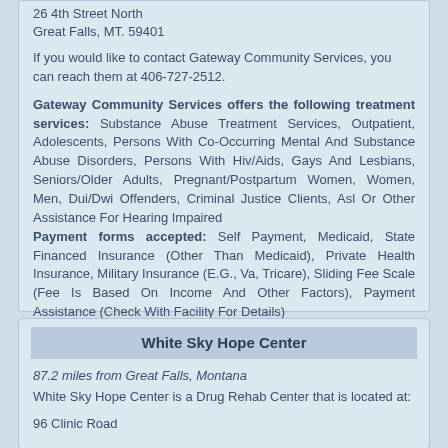26 4th Street North
Great Falls, MT. 59401
If you would like to contact Gateway Community Services, you can reach them at 406-727-2512.
Gateway Community Services offers the following treatment services: Substance Abuse Treatment Services, Outpatient, Adolescents, Persons With Co-Occurring Mental And Substance Abuse Disorders, Persons With Hiv/Aids, Gays And Lesbians, Seniors/Older Adults, Pregnant/Postpartum Women, Women, Men, Dui/Dwi Offenders, Criminal Justice Clients, Asl Or Other Assistance For Hearing Impaired
Payment forms accepted: Self Payment, Medicaid, State Financed Insurance (Other Than Medicaid), Private Health Insurance, Military Insurance (E.G., Va, Tricare), Sliding Fee Scale (Fee Is Based On Income And Other Factors), Payment Assistance (Check With Facility For Details)
White Sky Hope Center
87.2 miles from Great Falls, Montana
White Sky Hope Center is a Drug Rehab Center that is located at:
96 Clinic Road